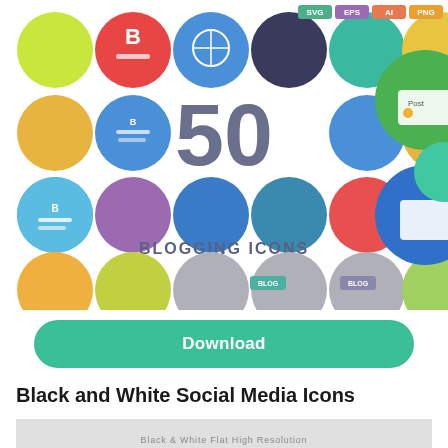[Figure (illustration): Colorful circular blogging icons grid preview showing various blog-related icons including writing, cameras, social media, etc. with a large '50' number and 'BLOGGING ICONS' text centered. Format badges SVG, EPS, AI, PNG shown in top right corner.]
Download
Black and White Social Media Icons
[Figure (illustration): Preview image with gray background showing 'Black & White Flat High Resolution' subtitle and 'SOCIAL MEDIA ICONS' in large bold black text.]